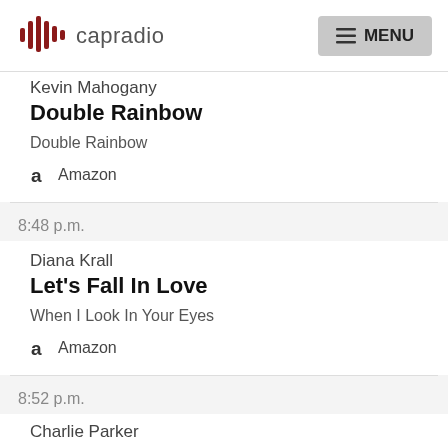capradio MENU
Kevin Mahogany
Double Rainbow
Double Rainbow
Amazon
8:48 p.m.
Diana Krall
Let's Fall In Love
When I Look In Your Eyes
Amazon
8:52 p.m.
Charlie Parker